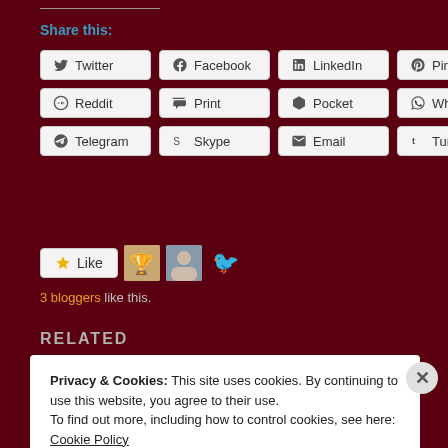Share this:
Twitter, Facebook, LinkedIn, Pinterest, Reddit, Print, Pocket, WhatsApp, Telegram, Skype, Email, Tumblr
[Figure (other): Like button with 3 blogger avatars]
3 bloggers like this.
RELATED
Privacy & Cookies: This site uses cookies. By continuing to use this website, you agree to their use. To find out more, including how to control cookies, see here: Cookie Policy
Close and accept